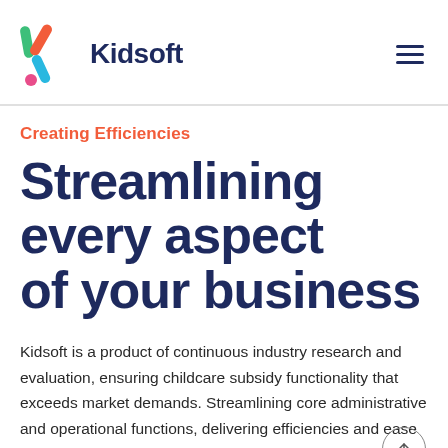[Figure (logo): Kidsoft logo: colorful K made of curved shapes in green, orange/red, pink dot, and blue/teal, with the word Kidsoft in dark navy bold text]
Creating Efficiencies
Streamlining every aspect of your business
Kidsoft is a product of continuous industry research and evaluation, ensuring childcare subsidy functionality that exceeds market demands. Streamlining core administrative and operational functions, delivering efficiencies and ease of use for both your staff and